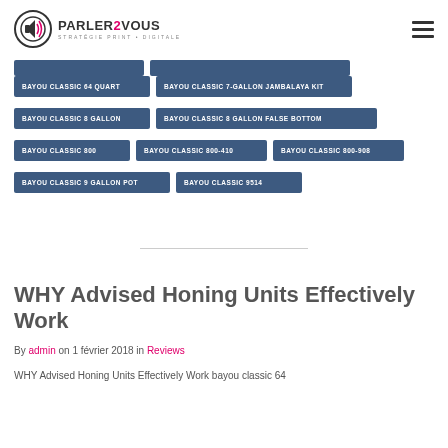PARLER2VOUS — STRATÉGIE PRINT & DIGITALE
BAYOU CLASSIC 64 QUART
BAYOU CLASSIC 7-GALLON JAMBALAYA KIT
BAYOU CLASSIC 8 GALLON
BAYOU CLASSIC 8 GALLON FALSE BOTTOM
BAYOU CLASSIC 800
BAYOU CLASSIC 800-410
BAYOU CLASSIC 800-908
BAYOU CLASSIC 9 GALLON POT
BAYOU CLASSIC 9514
WHY Advised Honing Units Effectively Work
By admin on 1 février 2018 in Reviews
WHY Advised Honing Units Effectively Work bayou classic 64